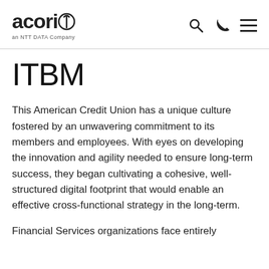acorio an NTT DATA Company
ITBM
This American Credit Union has a unique culture fostered by an unwavering commitment to its members and employees. With eyes on developing the innovation and agility needed to ensure long-term success, they began cultivating a cohesive, well-structured digital footprint that would enable an effective cross-functional strategy in the long-term.
Financial Services organizations face entirely